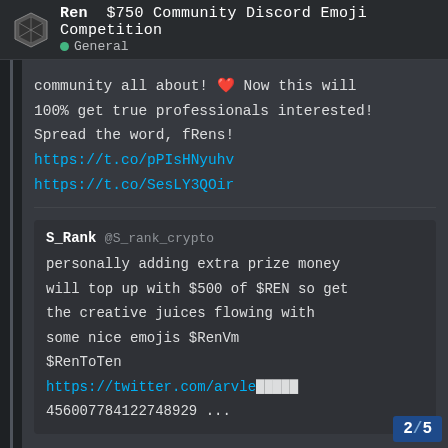$750 Community Discord Emoji Competition — General
community all about! ❤️ Now this will 100% get true professionals interested! Spread the word, fRens! https://t.co/pPIsHNyuhv https://t.co/SesLY3QOir
S_Rank @S_rank_crypto
personally adding extra prize money will top up with $500 of $REN so get the creative juices flowing with some nice emojis $RenVm $RenToTen https://twitter.com/arvle... 456007784122748929 ...
2/5